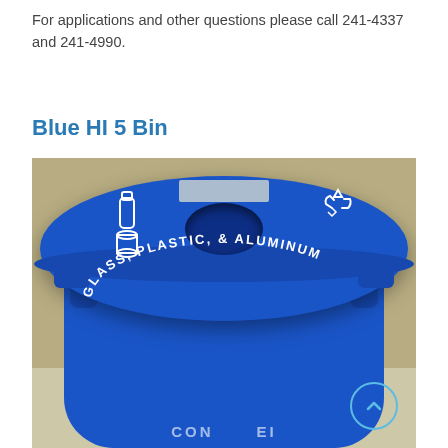For applications and other questions please call 241-4337 and 241-4990.
Blue HI 5 Bin
[Figure (photo): A blue recycling bin with a round lid. The lid has a circular opening in the center, a recycle symbol, icons for glass/plastic/aluminum containers, and text reading GLASS, PLASTIC, & ALUMINUM curved around the opening. The bin has side handles and sits on a beige floor against a tan wall. A scroll-up button overlay is visible in the bottom right corner.]